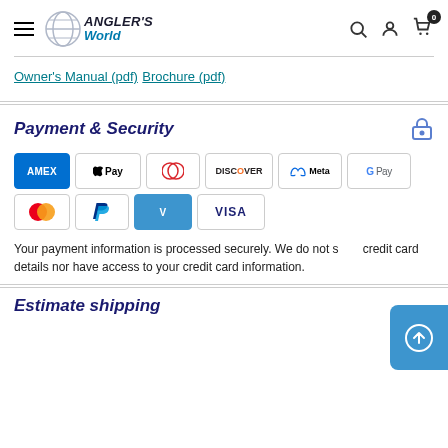[Figure (logo): Angler's World logo with globe icon]
Owner's Manual (pdf)
Brochure (pdf)
Payment & Security
[Figure (infographic): Payment method icons: Amex, Apple Pay, Diners, Discover, Meta, Google Pay, Mastercard, PayPal, Venmo, Visa]
Your payment information is processed securely. We do not store credit card details nor have access to your credit card information.
Estimate shipping